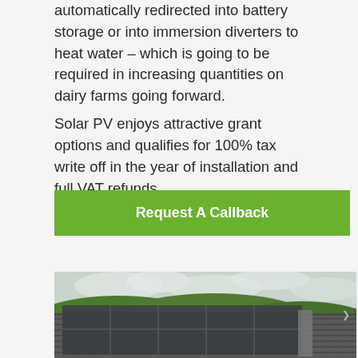automatically redirected into battery storage or into immersion diverters to heat water – which is going to be required in increasing quantities on dairy farms going forward.
Solar PV enjoys attractive grant options and qualifies for 100% tax write off in the year of installation and full VAT refunds.
Request A Callback
[Figure (photo): Solar PV panels installed on a tiled roof with green hills and cloudy sky in the background]